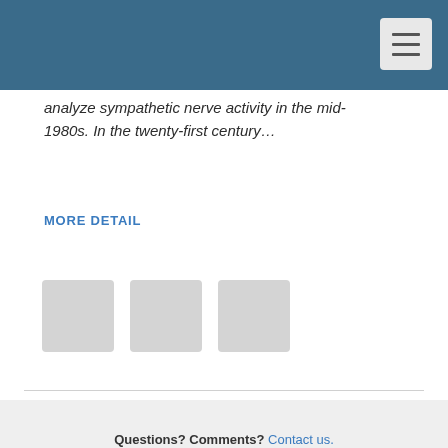analyze sympathetic nerve activity in the mid-1980s. In the twenty-first century…
MORE DETAIL
[Figure (other): Three grey placeholder thumbnail squares]
Questions? Comments? Contact us. Copyright © 2022 Nova Scotia Health Authority